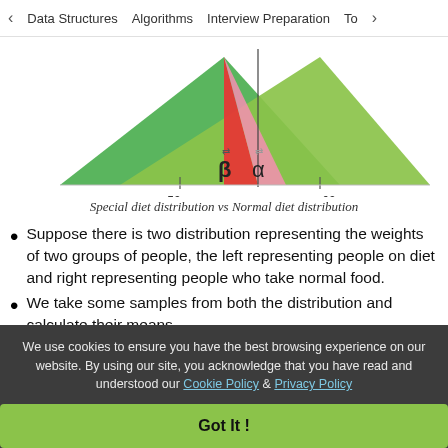< Data Structures   Algorithms   Interview Preparation   To>
[Figure (continuous-plot): Two overlapping distribution curves (triangle shapes): left curve is dark green (diet group, mu=50), right curve is light green (normal food group, mu=60). Overlapping region shows red area (beta) and pink area (alpha). Vertical line separates the two means. Labels: mu=50 on left, mu=60 on right, beta and alpha symbols shown in overlap region.]
Special diet distribution vs Normal diet distribution
Suppose there is two distribution representing the weights of two groups of people, the left representing people on diet and right representing people who take normal food.
We take some samples from both the distribution and calculate their means
We use cookies to ensure you have the best browsing experience on our website. By using our site, you acknowledge that you have read and understood our Cookie Policy & Privacy Policy
Got It !